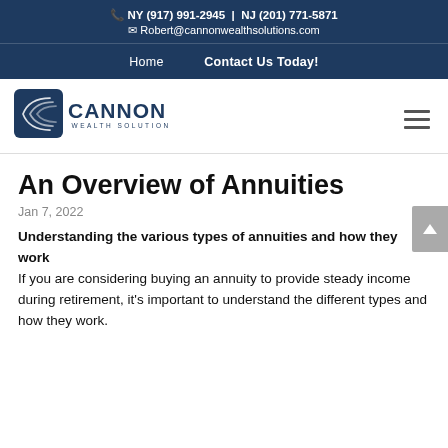NY (917) 991-2945 | NJ (201) 771-5871 Robert@cannonwealthsolutions.com
Home | Contact Us Today!
[Figure (logo): Cannon Wealth Solutions logo — stylized 'C' with lines, text CANNON WEALTH SOLUTIONS]
An Overview of Annuities
Jan 7, 2022
Understanding the various types of annuities and how they work If you are considering buying an annuity to provide steady income during retirement, it's important to understand the different types and how they work.